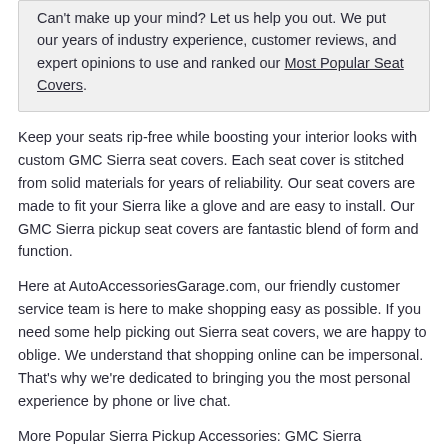Can't make up your mind? Let us help you out. We put our years of industry experience, customer reviews, and expert opinions to use and ranked our Most Popular Seat Covers.
Keep your seats rip-free while boosting your interior looks with custom GMC Sierra seat covers. Each seat cover is stitched from solid materials for years of reliability. Our seat covers are made to fit your Sierra like a glove and are easy to install. Our GMC Sierra pickup seat covers are fantastic blend of form and function.
Here at AutoAccessoriesGarage.com, our friendly customer service team is here to make shopping easy as possible. If you need some help picking out Sierra seat covers, we are happy to oblige. We understand that shopping online can be impersonal. That's why we're dedicated to bringing you the most personal experience by phone or live chat.
More Popular Sierra Pickup Accessories: GMC Sierra